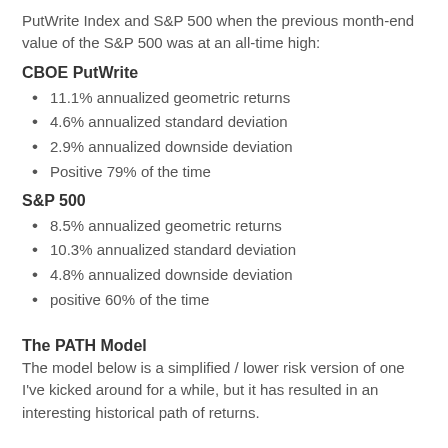PutWrite Index and S&P 500 when the previous month-end value of the S&P 500 was at an all-time high:
CBOE PutWrite
11.1% annualized geometric returns
4.6% annualized standard deviation
2.9% annualized downside deviation
Positive 79% of the time
S&P 500
8.5% annualized geometric returns
10.3% annualized standard deviation
4.8% annualized downside deviation
positive 60% of the time
The PATH Model
The model below is a simplified / lower risk version of one I've kicked around for a while, but it has resulted in an interesting historical path of returns.